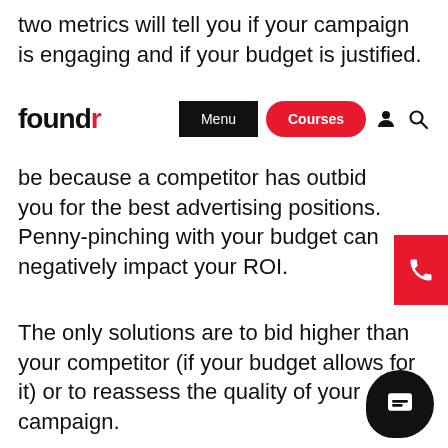two metrics will tell you if your campaign is engaging and if your budget is justified.
[Figure (screenshot): Foundr website navigation bar with logo 'foundr' (r in red), Menu button (black), Courses button (red pill), user icon, and search icon]
be because a competitor has outbid you for the best advertising positions. Penny-pinching with your budget can negatively impact your ROI.
[Figure (other): Red phone call button on the right edge of the page]
The only solutions are to bid higher than your competitor (if your budget allows for it) or to reassess the quality of your campaign.
[Figure (other): Black chat bubble button at bottom right]